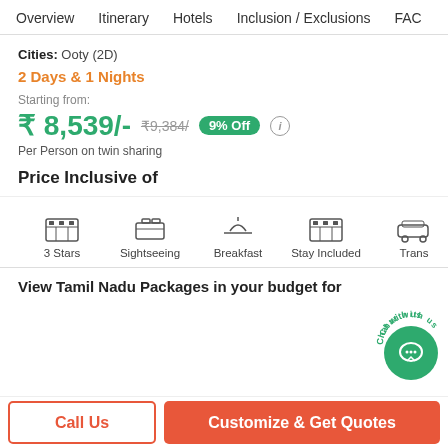Overview   Itinerary   Hotels   Inclusion / Exclusions   FAQ
Cities: Ooty (2D)
2 Days & 1 Nights
Starting from:
₹ 8,539/-  ₹9,384/- 9% Off
Per Person on twin sharing
Price Inclusive of
[Figure (infographic): Icons for 3 Stars, Sightseeing, Breakfast, Stay Included, Trans(fers)]
View Tamil Nadu Packages in your budget for
Call Us   Customize & Get Quotes